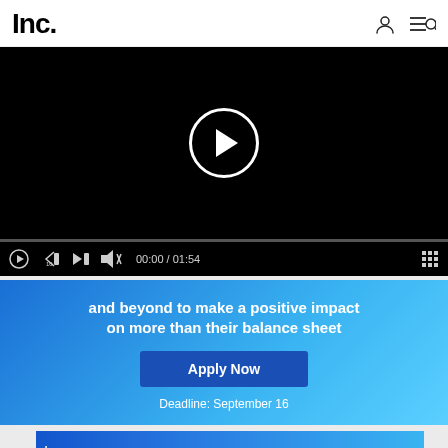Inc.
[Figure (screenshot): Video player with black screen showing a play button circle in the center, a progress bar, and video controls showing 00:00 / 01:54]
[Figure (infographic): Advertisement banner with blue gradient background. Text reads 'and beyond to make a positive impact on more than their balance sheet' with an 'Apply Now' button and 'Deadline: September 16' text below.]
[Figure (infographic): Inc. Best in Business advertisement banner at bottom. Shows 'Inc.' logo, 'Best in Business' text, 'Deadline: 9/...' and 'Apply Now' button, with an X close button.]
First